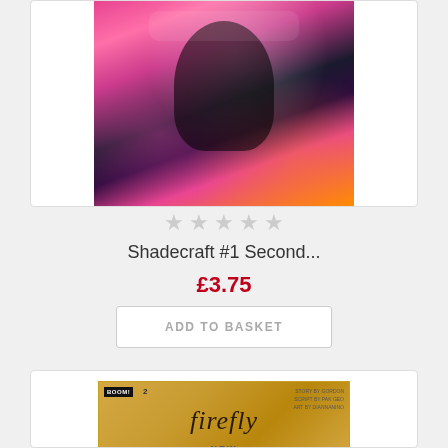[Figure (illustration): Comic book cover for Shadecraft #1 Second printing – stylized portrait of a screaming figure with pink, purple, orange, and black graphic art style]
★★★★★ (empty stars rating)
Shadecraft #1 Second...
£3.75
ADD TO BASKET
[Figure (illustration): Comic book cover for Firefly #2 – gold/tan background with stylized 'firefly' script title, BOOM! Studios logo, issue number 2, and creator credits on the right side. 'NEW' text visible at the bottom.]